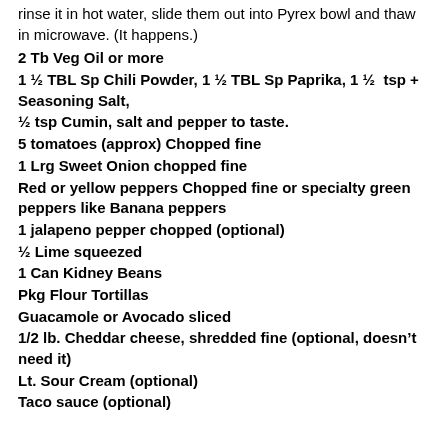rinse it in hot water, slide them out into Pyrex bowl and thaw in microwave. (It happens.)
2 Tb Veg Oil or more
1 ½ TBL Sp Chili Powder, 1 ½ TBL Sp Paprika, 1 ½  tsp + Seasoning Salt,
½ tsp Cumin, salt and pepper to taste.
5 tomatoes (approx) Chopped fine
1 Lrg Sweet Onion chopped fine
Red or yellow peppers Chopped fine or specialty green peppers like Banana peppers
1 jalapeno pepper chopped (optional)
½ Lime squeezed
1 Can Kidney Beans
Pkg Flour Tortillas
Guacamole or Avocado sliced
1/2 lb. Cheddar cheese, shredded fine (optional, doesn't need it)
Lt. Sour Cream (optional)
Taco sauce (optional)